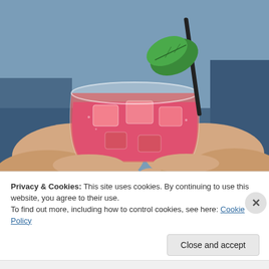[Figure (photo): A close-up photo of two hands cupping a round glass filled with a pink/red drink, ice cubes, a lime wedge garnish, and a black straw against a blurred blue background.]
Privacy & Cookies: This site uses cookies. By continuing to use this website, you agree to their use.
To find out more, including how to control cookies, see here: Cookie Policy
Close and accept